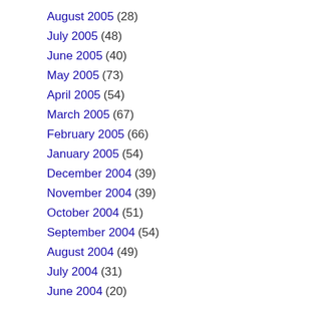August 2005 (28)
July 2005 (48)
June 2005 (40)
May 2005 (73)
April 2005 (54)
March 2005 (67)
February 2005 (66)
January 2005 (54)
December 2004 (39)
November 2004 (39)
October 2004 (51)
September 2004 (54)
August 2004 (49)
July 2004 (31)
June 2004 (20)